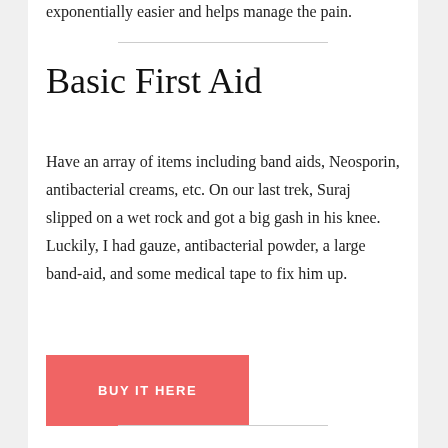exponentially easier and helps manage the pain.
Basic First Aid
Have an array of items including band aids, Neosporin, antibacterial creams, etc. On our last trek, Suraj slipped on a wet rock and got a big gash in his knee. Luckily, I had gauze, antibacterial powder, a large band-aid, and some medical tape to fix him up.
BUY IT HERE